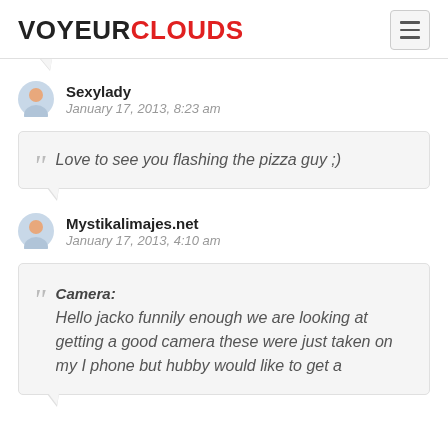VOYEURCLOUDS
Sexylady
January 17, 2013, 8:23 am
Love to see you flashing the pizza guy ;)
Mystikalimajes.net
January 17, 2013, 4:10 am
Camera:
Hello jacko funnily enough we are looking at getting a good camera these were just taken on my I phone but hubby would like to get a